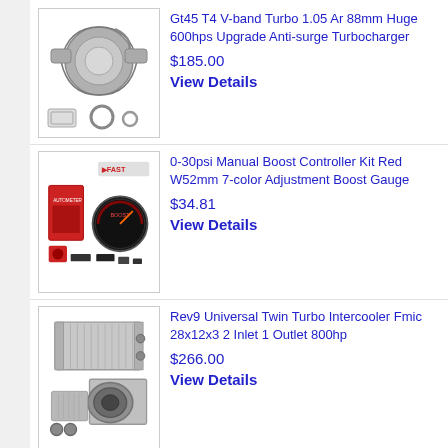[Figure (photo): Turbocharger product image with gasket and seals]
Gt45 T4 V-band Turbo 1.05 Ar 88mm Huge 600hps Upgrade Anti-surge Turbocharger
$185.00
View Details
[Figure (photo): Manual boost controller kit with red gauge and components]
0-30psi Manual Boost Controller Kit Red W52mm 7-color Adjustment Boost Gauge
$34.81
View Details
[Figure (photo): Twin turbo intercooler product image showing front-mount intercooler]
Rev9 Universal Twin Turbo Intercooler Fmic 28x12x3 2 Inlet 1 Outlet 800hp
$266.00
View Details
[Figure (photo): Fourth product image partially visible]